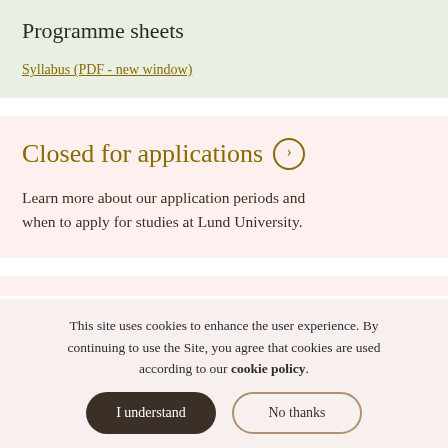Programme sheets
Syllabus (PDF - new window)
Closed for applications
Learn more about our application periods and when to apply for studies at Lund University.
This site uses cookies to enhance the user experience. By continuing to use the Site, you agree that cookies are used according to our cookie policy.